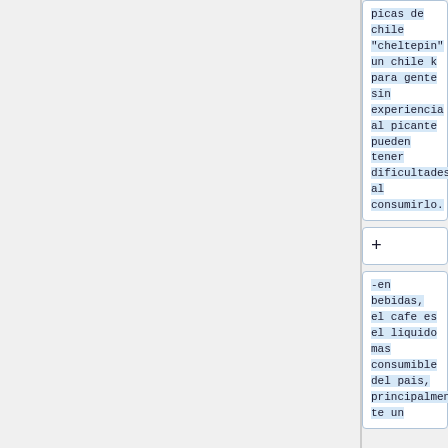picas de chile "cheltepin" un chile k para gente sin experiencia al picante pueden tener dificultades al consumirlo.
+
-en bebidas, el cafe es el liquido mas consumible del pais, principalmente un